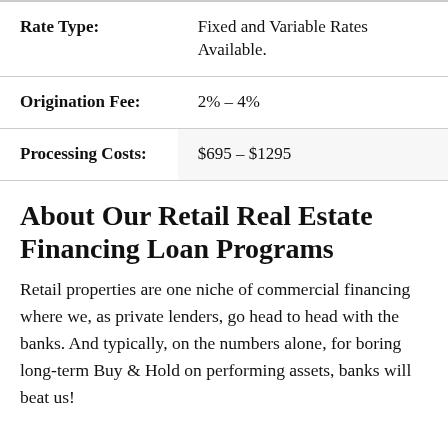| Field | Value |
| --- | --- |
| Rate Type: | Fixed and Variable Rates Available. |
| Origination Fee: | 2% – 4% |
| Processing Costs: | $695 – $1295 |
About Our Retail Real Estate Financing Loan Programs
Retail properties are one niche of commercial financing where we, as private lenders, go head to head with the banks. And typically, on the numbers alone, for boring long-term Buy & Hold on performing assets, banks will beat us!